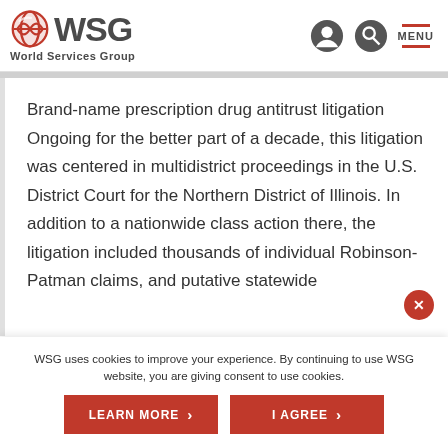WSG World Services Group
Brand-name prescription drug antitrust litigation Ongoing for the better part of a decade, this litigation was centered in multidistrict proceedings in the U.S. District Court for the Northern District of Illinois. In addition to a nationwide class action there, the litigation included thousands of individual Robinson-Patman claims, and putative statewide
WSG uses cookies to improve your experience. By continuing to use WSG website, you are giving consent to use cookies.
LEARN MORE
I AGREE